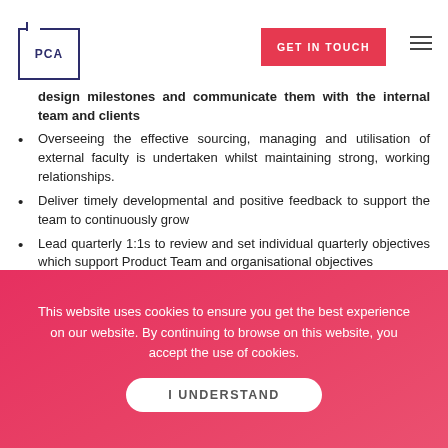PCA | GET IN TOUCH
the Product Team's design capabilities
Own project allocation and capacity planning for the Product Team to ensure that design projects are delivered on time
Support the Product Team with setting realistic and achievable design milestones and communicate them with the internal team and clients
Overseeing the effective sourcing, managing and utilisation of external faculty is undertaken whilst maintaining strong, working relationships.
Deliver timely developmental and positive feedback to support the team to continuously grow
Lead quarterly 1:1s to review and set individual quarterly objectives which support Product Team and organisational objectives
Hold monthly 1:1s with all your team members to ensure they
This website uses cookies to ensure you get the best experience on our website. By continuing to browse on this website, you accept the use of cookies.
I UNDERSTAND